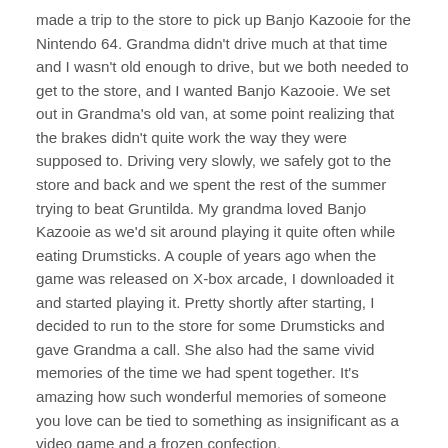made a trip to the store to pick up Banjo Kazooie for the Nintendo 64. Grandma didn't drive much at that time and I wasn't old enough to drive, but we both needed to get to the store, and I wanted Banjo Kazooie. We set out in Grandma's old van, at some point realizing that the brakes didn't quite work the way they were supposed to. Driving very slowly, we safely got to the store and back and we spent the rest of the summer trying to beat Gruntilda. My grandma loved Banjo Kazooie as we'd sit around playing it quite often while eating Drumsticks. A couple of years ago when the game was released on X-box arcade, I downloaded it and started playing it. Pretty shortly after starting, I decided to run to the store for some Drumsticks and gave Grandma a call. She also had the same vivid memories of the time we had spent together. It's amazing how such wonderful memories of someone you love can be tied to something as insignificant as a video game and a frozen confection.